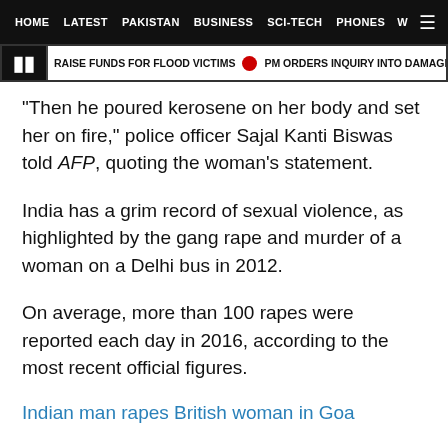HOME   LATEST   PAKISTAN   BUSINESS   SCI-TECH   PHONES   W
RAISE FUNDS FOR FLOOD VICTIMS  •  PM ORDERS INQUIRY INTO DAMAGE CAUSED
"Then he poured kerosene on her body and set her on fire," police officer Sajal Kanti Biswas told AFP, quoting the woman's statement.
India has a grim record of sexual violence, as highlighted by the gang rape and murder of a woman on a Delhi bus in 2012.
On average, more than 100 rapes were reported each day in 2016, according to the most recent official figures.
Indian man rapes British woman in Goa
Victims are often threatened by the perpetrators against reporting the incidents to the authorities.